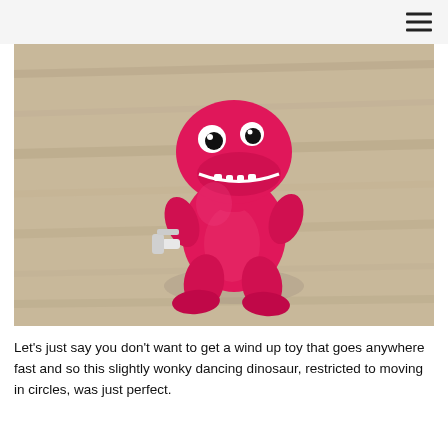[Figure (photo): A pink wind-up dinosaur toy (T-rex style) standing on a wooden surface. The toy is bright pink/magenta with white teeth showing in a smile, black eyes, small arms, and a white wind-up key on its side.]
Let's just say you don't want to get a wind up toy that goes anywhere fast and so this slightly wonky dancing dinosaur, restricted to moving in circles, was just perfect.